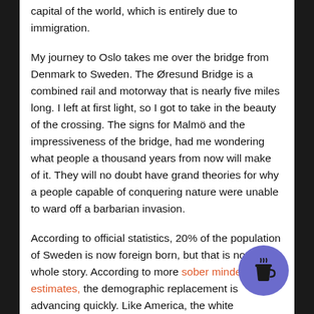capital of the world, which is entirely due to immigration.
My journey to Oslo takes me over the bridge from Denmark to Sweden. The Øresund Bridge is a combined rail and motorway that is nearly five miles long. I left at first light, so I got to take in the beauty of the crossing. The signs for Malmö and the impressiveness of the bridge, had me wondering what people a thousand years from now will make of it. They will no doubt have grand theories for why a people capable of conquering nature were unable to ward off a barbarian invasion.
According to official statistics, 20% of the population of Sweden is now foreign born, but that is not the whole story. According to more sober minded estimates, the demographic replacement is advancing quickly. Like America, the white population will be a minority by mid-century or sooner. In that regard, it will no longer be Sweden. Why the rulers of Sweden decided to suicide their people in this way boggles the mind. America, can at least blame slavery. The Swedes can only blame